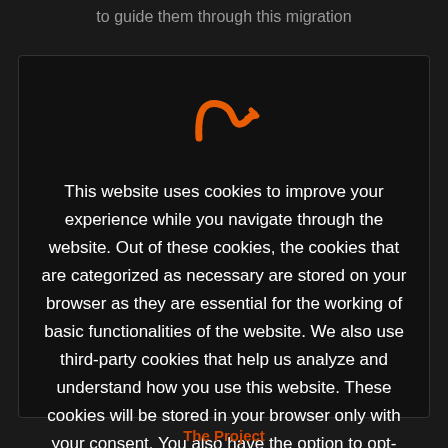to guide them through this migration
[Figure (logo): Orange stylized arrow/cursor logo icon on dark background]
This website uses cookies to improve your experience while you navigate through the website. Out of these cookies, the cookies that are categorized as necessary are stored on your browser as they are essential for the working of basic functionalities of the website. We also use third-party cookies that help us analyze and understand how you use this website. These cookies will be stored in your browser only with your consent. You also have the option to opt-out of these cookies. But opting out of some of these cookies may have an effect on your browsing
The Project